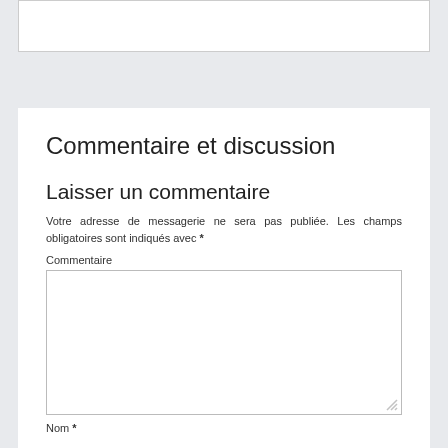[Figure (screenshot): Top white card area partially visible at top of page]
Commentaire et discussion
Laisser un commentaire
Votre adresse de messagerie ne sera pas publiée. Les champs obligatoires sont indiqués avec *
Commentaire
[Figure (screenshot): Empty text area input box for comment]
Nom *